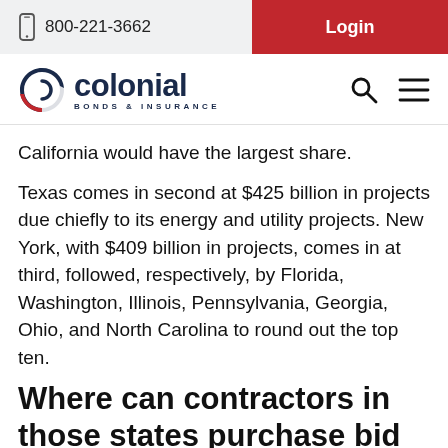800-221-3662  Login
[Figure (logo): Colonial Bonds & Insurance logo with stylized C icon in dark blue and red]
California would have the largest share.
Texas comes in second at $425 billion in projects due chiefly to its energy and utility projects. New York, with $409 billion in projects, comes in at third, followed, respectively, by Florida, Washington, Illinois, Pennsylvania, Georgia, Ohio, and North Carolina to round out the top ten.
Where can contractors in those states purchase bid and payment/performance bonds for a project?